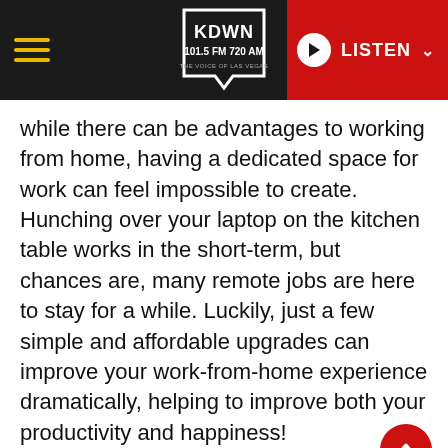KDWN 101.5 FM 720 AM — LISTEN
while there can be advantages to working from home, having a dedicated space for work can feel impossible to create. Hunching over your laptop on the kitchen table works in the short-term, but chances are, many remote jobs are here to stay for a while. Luckily, just a few simple and affordable upgrades can improve your work-from-home experience dramatically, helping to improve both your productivity and happiness!
Here are some simple ways to improve your work from home office setup: